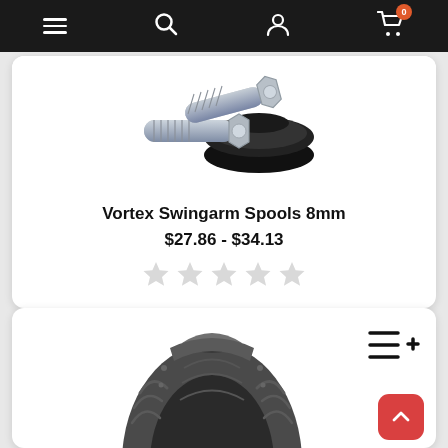Navigation bar with menu, search, account, and cart icons
[Figure (photo): Vortex swingarm spools 8mm product photo showing black spool and two silver metal bolts/screws]
Vortex Swingarm Spools 8mm
$27.86 - $34.13
[Figure (other): 5 empty gray star rating icons]
[Figure (photo): Motorcycle tire product photo showing a curved tire with tread pattern, partially cropped at bottom]